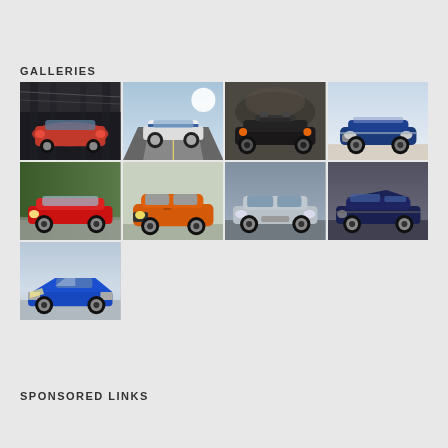GALLERIES
[Figure (photo): Grid of 9 car photos arranged in 3 rows: Row 1 has 4 cars (red SUV in dark setting, white muscle car on road, dark vintage car, blue luxury convertible); Row 2 has 4 cars (red convertible, orange hatchback, silver sedan, dark blue muscle car); Row 3 has 1 car (blue sports car)]
SPONSORED LINKS